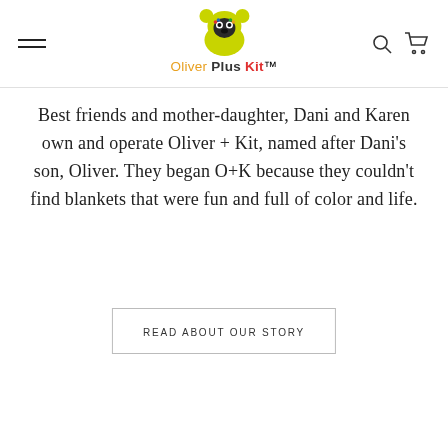Oliver Plus Kit — navigation header with logo
Best friends and mother-daughter, Dani and Karen own and operate Oliver + Kit, named after Dani's son, Oliver. They began O+K because they couldn't find blankets that were fun and full of color and life.
READ ABOUT OUR STORY